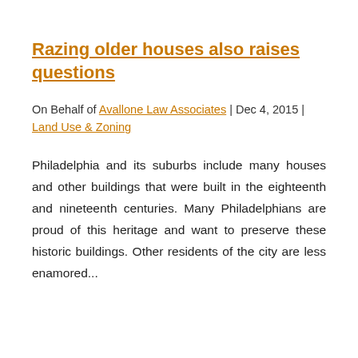Razing older houses also raises questions
On Behalf of Avallone Law Associates | Dec 4, 2015 | Land Use & Zoning
Philadelphia and its suburbs include many houses and other buildings that were built in the eighteenth and nineteenth centuries. Many Philadelphians are proud of this heritage and want to preserve these historic buildings. Other residents of the city are less enamored...